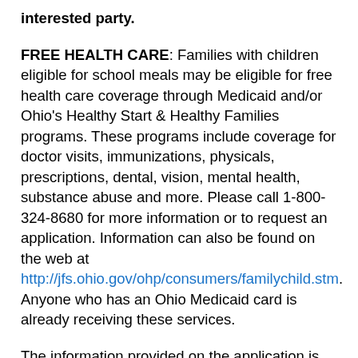interested party.
FREE HEALTH CARE: Families with children eligible for school meals may be eligible for free health care coverage through Medicaid and/or Ohio's Healthy Start & Healthy Families programs. These programs include coverage for doctor visits, immunizations, physicals, prescriptions, dental, vision, mental health, substance abuse and more. Please call 1-800-324-8680 for more information or to request an application. Information can also be found on the web at http://jfs.ohio.gov/ohp/consumers/familychild.stm. Anyone who has an Ohio Medicaid card is already receiving these services.
The information provided on the application is confidential and will only be used for the purpose to determine eligibility and may be verified at any time during the school year by school or another program official. To discourage the possibility of misrepresentation, the application forms contain a statement above the space for signature certifying that all information furnished is true and correct. Applications are being made in connection with the receipt of federal funds. Schools or other officials may check the information on the application at any